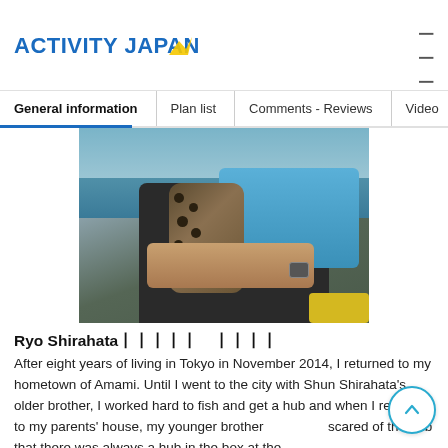ACTIVITY JAPAN
General information | Plan list | Comments - Reviews | Video
[Figure (photo): Person holding a spotted fish (likely a grouper or similar species) while wearing a life vest on a boat on water]
Ryo Shirahataーーーーー    ーーーー
After eight years of living in Tokyo in November 2014, I returned to my hometown of Amami. Until I went to the city with Shun Shirahata's older brother, I worked hard to fish and get a hub and when I returned to my parents' house, my younger brother was scared of the hub that there was always a hub in the box at the